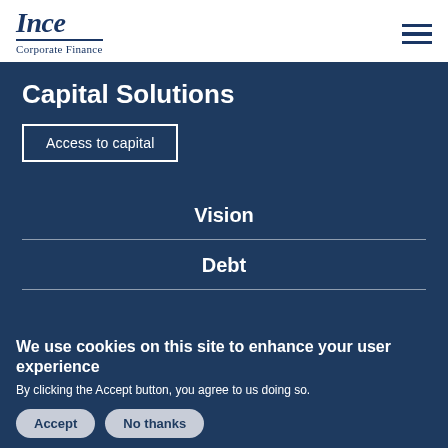Ince Corporate Finance
Capital Solutions
Access to capital
Vision
Debt
We use cookies on this site to enhance your user experience
By clicking the Accept button, you agree to us doing so.